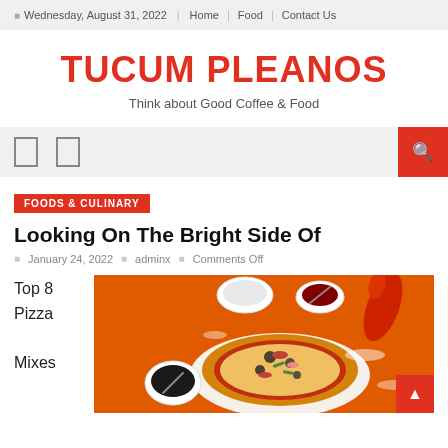Wednesday, August 31, 2022 | Home | Food | Contact Us
TUCUM PLEANOS
Think about Good Coffee & Food
[Figure (other): Navigation bar with two icon buttons and a red search button on the right]
FOODS & CULINARY
Looking On The Bright Side Of
January 24, 2022  adminx  Comments Off
Top 8 Pizza Mixes
[Figure (photo): Overhead photo of a pizza with toppings on an orange background, surrounded by small bowls of ingredients and a red pepper]